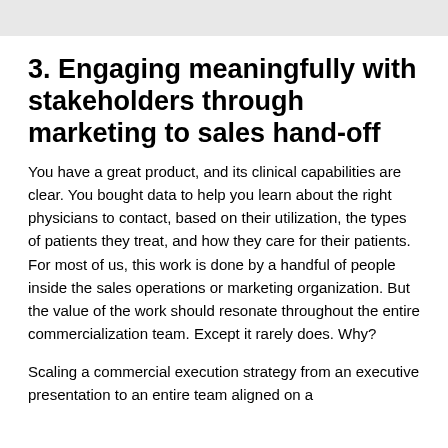3. Engaging meaningfully with stakeholders through marketing to sales hand-off
You have a great product, and its clinical capabilities are clear. You bought data to help you learn about the right physicians to contact, based on their utilization, the types of patients they treat, and how they care for their patients. For most of us, this work is done by a handful of people inside the sales operations or marketing organization. But the value of the work should resonate throughout the entire commercialization team. Except it rarely does. Why?
Scaling a commercial execution strategy from an executive presentation to an entire team aligned on a